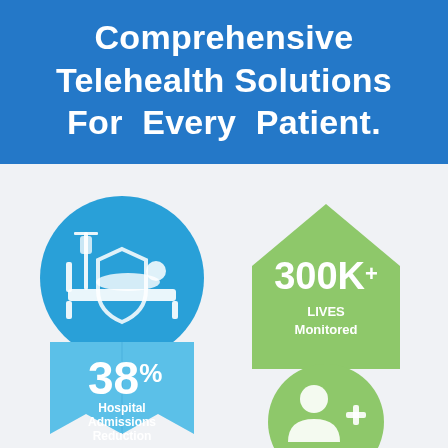Comprehensive Telehealth Solutions For Every Patient.
[Figure (infographic): Blue circular badge with hospital bed and shield icon, blue bookmark/ribbon banner below showing 38% Hospital Admissions Reduction stat]
[Figure (infographic): Green house/arrow shape showing 300K+ LIVES Monitored, with green circle below containing person/user icon with plus sign]